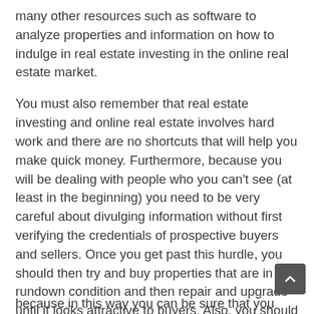many other resources such as software to analyze properties and information on how to indulge in real estate investing in the online real estate market.
You must also remember that real estate investing and online real estate involves hard work and there are no shortcuts that will help you make quick money. Furthermore, because you will be dealing with people who you can't see (at least in the beginning) you need to be very careful about divulging information without first verifying the credentials of prospective buyers and sellers. Once you get past this hurdle, you should then try and buy properties that are in a rundown condition and then repair and upgrade until it looks attractive to buyers. Also, you should look for properties that are located in places where the rentals are on the high s[ide] because in this way you can be sure that your real estate